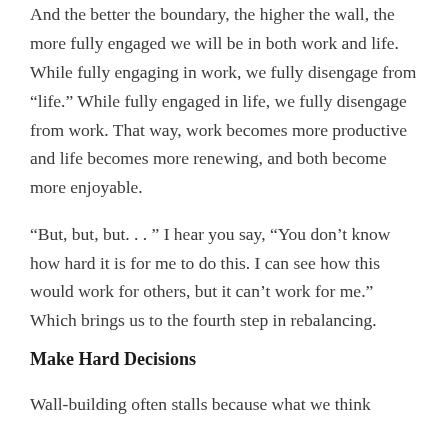And the better the boundary, the higher the wall, the more fully engaged we will be in both work and life. While fully engaging in work, we fully disengage from “life.” While fully engaged in life, we fully disengage from work. That way, work becomes more productive and life becomes more renewing, and both become more enjoyable.
“But, but, but. . . ” I hear you say, “You don’t know how hard it is for me to do this. I can see how this would work for others, but it can’t work for me.” Which brings us to the fourth step in rebalancing.
Make Hard Decisions
Wall-building often stalls because what we think